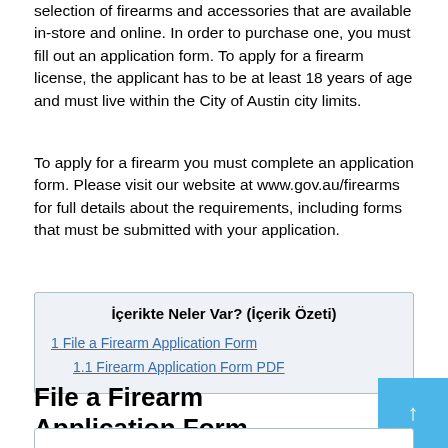selection of firearms and accessories that are available in-store and online. In order to purchase one, you must fill out an application form. To apply for a firearm license, the applicant has to be at least 18 years of age and must live within the City of Austin city limits.
To apply for a firearm you must complete an application form. Please visit our website at www.gov.au/firearms for full details about the requirements, including forms that must be submitted with your application.
| İçerikte Neler Var? (İçerik Özeti) |
| 1 File a Firearm Application Form |
| 1.1 Firearm Application Form PDF |
File a Firearm Application Form